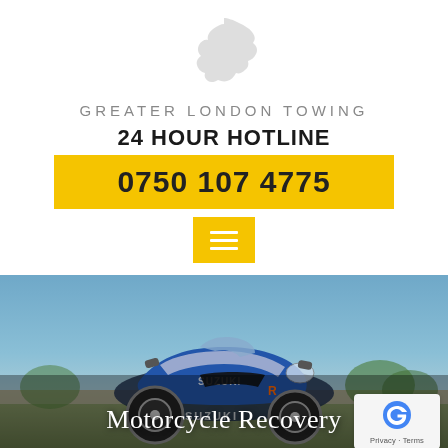[Figure (logo): Greater London Towing logo with grey silhouette map of London and spaced letter text GREATER LONDON TOWING]
24 HOUR HOTLINE
0750 107 4775
[Figure (other): Yellow square button with three horizontal white lines (hamburger menu icon)]
[Figure (photo): Photo of a blue and silver Suzuki sport motorcycle parked outdoors with sky and trees in background]
Motorcycle Recovery